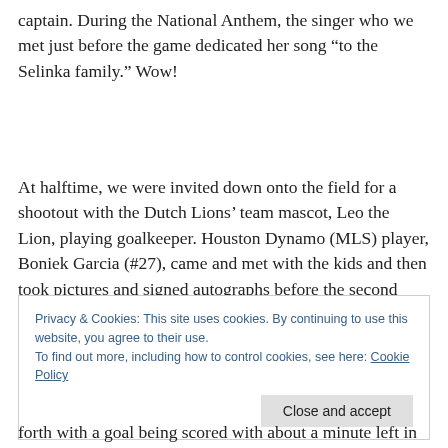captain.  During the National Anthem, the singer who we met just before the game dedicated her song “to the Selinka family.”  Wow!
At halftime, we were invited down onto the field for a shootout with the Dutch Lions’ team mascot, Leo the Lion, playing goalkeeper.  Houston Dynamo (MLS) player, Boniek Garcia (#27), came and met with the kids and then took pictures and signed autographs before the second
Privacy & Cookies: This site uses cookies. By continuing to use this website, you agree to their use.
To find out more, including how to control cookies, see here: Cookie Policy
forth with a goal being scored with about a minute left in